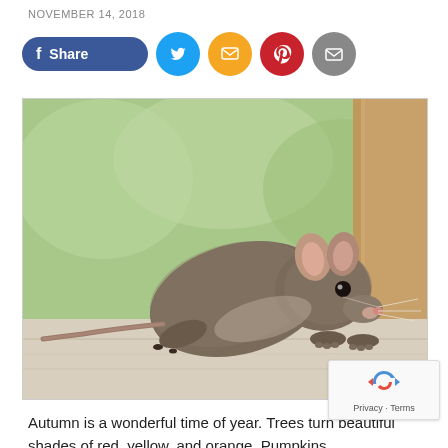NOVEMBER 14, 2018
[Figure (other): Social sharing buttons: Facebook Share, Twitter, SMS, Pinterest, Email]
[Figure (photo): Close-up photo of a grey mouse/rat on a wooden surface with green blurred background and wooden post in background]
Autumn is a wonderful time of year. Trees turn beautiful shades of red, yellow, and orange. Pumpkins